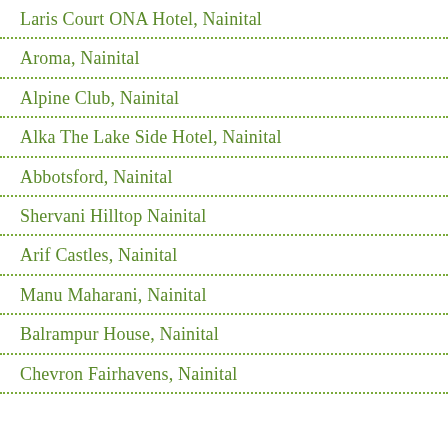Laris Court ONA Hotel, Nainital
Aroma, Nainital
Alpine Club, Nainital
Alka The Lake Side Hotel, Nainital
Abbotsford, Nainital
Shervani Hilltop Nainital
Arif Castles, Nainital
Manu Maharani, Nainital
Balrampur House, Nainital
Chevron Fairhavens, Nainital